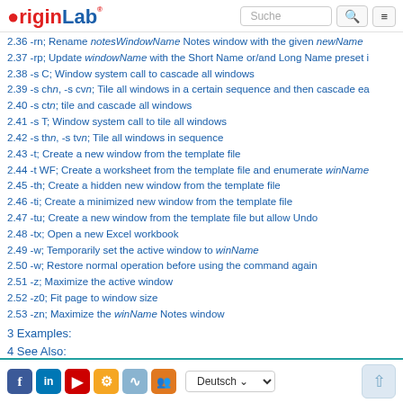OriginLab [logo] Suche [search] [menu]
2.36 -rn; Rename notesWindowName Notes window with the given newName
2.37 -rp; Update windowName with the Short Name or/and Long Name preset
2.38 -s C; Window system call to cascade all windows
2.39 -s chn, -s cvn; Tile all windows in a certain sequence and then cascade each
2.40 -s ctn; tile and cascade all windows
2.41 -s T; Window system call to tile all windows
2.42 -s thn, -s tvn; Tile all windows in sequence
2.43 -t; Create a new window from the template file
2.44 -t WF; Create a worksheet from the template file and enumerate winName
2.45 -th; Create a hidden new window from the template file
2.46 -ti; Create a minimized new window from the template file
2.47 -tu; Create a new window from the template file but allow Undo
2.48 -tx; Open a new Excel workbook
2.49 -w; Temporarily set the active window to winName
2.50 -w; Restore normal operation before using the command again
2.51 -z; Maximize the active window
2.52 -z0; Fit page to window size
2.53 -zn; Maximize the winName Notes window
3 Examples:
4 See Also:
Social icons: Facebook, LinkedIn, YouTube, Gear, RSS, Group | Language: Deutsch | Up button